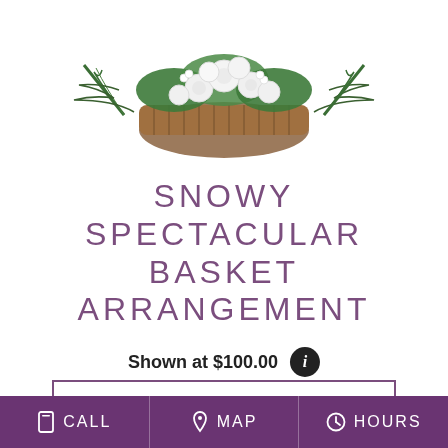[Figure (photo): A flower basket arrangement with white chrysanthemums and green foliage in a wicker basket, photographed from above against a white background]
SNOWY SPECTACULAR BASKET ARRANGEMENT
Shown at $100.00
BUY NOW
CALL  MAP  HOURS